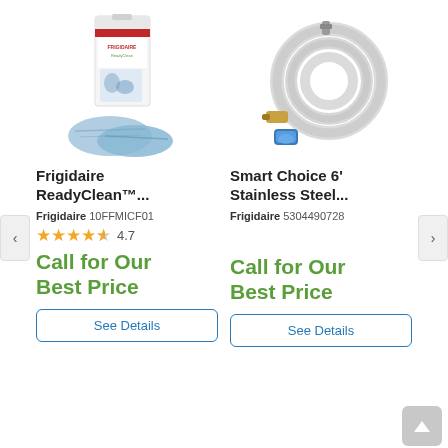[Figure (photo): Frigidaire ReadyClean product box with two blue microfiber cloths in front]
[Figure (photo): Coiled stainless steel braided hose with brass fittings and blue Teflon tape roll]
Frigidaire ReadyClean™...
Smart Choice 6' Stainless Steel...
Frigidaire 10FFMICF01
Frigidaire 5304490728
★★★★☆ 4.7
Call for Our Best Price
Call for Our Best Price
See Details
See Details